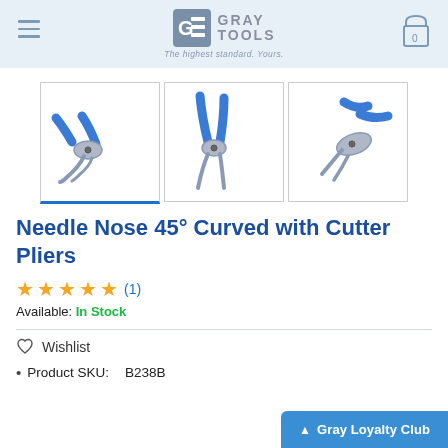Gray Tools — The highest standard. Yours.
[Figure (photo): Three product photos of needle nose 45° curved pliers with blue handles shown from different angles]
Needle Nose 45° Curved with Cutter Pliers
★★★★★ (1)
Available: In Stock
♡ Wishlist
Product SKU:    B238B
▲ Gray Loyalty Club